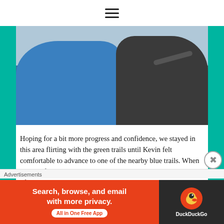☰ (hamburger menu icon)
[Figure (photo): Close-up photo of two people on a ski lift, one wearing a blue jacket and the other wearing a dark jacket, with ski equipment visible including handlebars]
Hoping for a bit more progress and confidence, we stayed in this area flirting with the green trails until Kevin felt comfortable to advance to one of the nearby blue trails. When on the lift back to the beginning, it was easy to make out some of the other trails in this are and boy they were long and steep. We parted ways and I also attempted the smallest blue trail in history. With a clear
Advertisements
[Figure (screenshot): DuckDuckGo advertisement banner: orange section reads 'Search, browse, and email with more privacy. All in One Free App' and dark section shows DuckDuckGo logo and brand name]